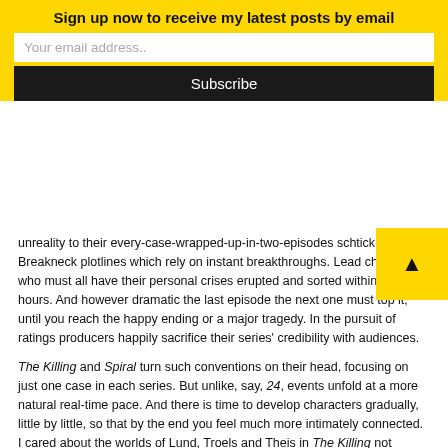Sign up now to receive my latest posts by email
Your email address..
Subscribe
unreality to their every-case-wrapped-up-in-two-episodes schtick. Breakneck plotlines which rely on instant breakthroughs. Lead characters who must all have their personal crises erupted and sorted within two hours. And however dramatic the last episode the next one must top it, until you reach the happy ending or a major tragedy. In the pursuit of ratings producers happily sacrifice their series' credibility with audiences.
The Killing and Spiral turn such conventions on their head, focusing on just one case in each series. But unlike, say, 24, events unfold at a more natural real-time pace. And there is time to develop characters gradually, little by little, so that by the end you feel much more intimately connected. I cared about the worlds of Lund, Troels and Theis in The Killing not because they'd been kidnapped, or shot, or developed amnesia — or any other sensational dramatic trope — but precisely because their ordinariness encourages the viewer's empathy.
It took me slightly longer to appreciate Spiral's characters — for